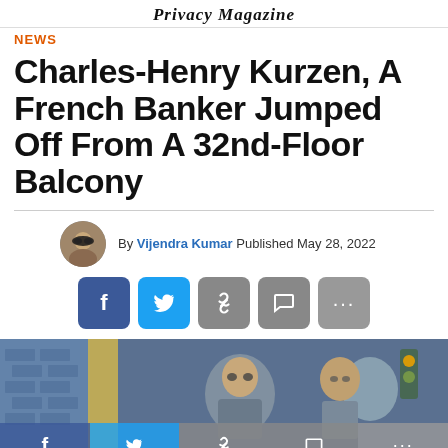Privacy Magazine
NEWS
Charles-Henry Kurzen, A French Banker Jumped Off From A 32nd-Floor Balcony
By Vijendra Kumar Published May 28, 2022
[Figure (infographic): Social share buttons row: Facebook (blue), Twitter (light blue), Link (gray), Comment (gray), More (gray)]
[Figure (photo): News article photo showing two men in police or official uniforms, with a bottom social share bar overlay showing Facebook, Twitter, Link, Comment, and More buttons]